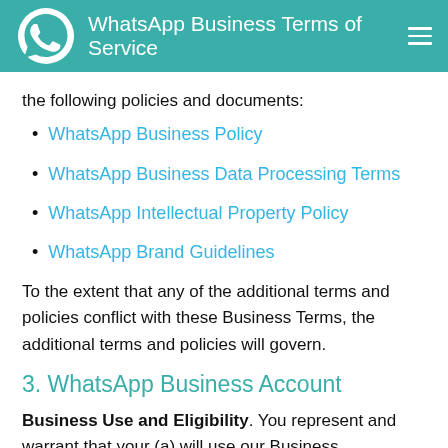WhatsApp Business Terms of Service
the following policies and documents:
WhatsApp Business Policy
WhatsApp Business Data Processing Terms
WhatsApp Intellectual Property Policy
WhatsApp Brand Guidelines
To the extent that any of the additional terms and policies conflict with these Business Terms, the additional terms and policies will govern.
3. WhatsApp Business Account
Business Use and Eligibility. You represent and warrant that your (a) will use our Business